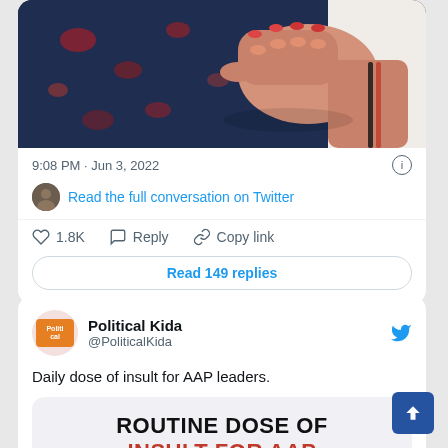[Figure (screenshot): Twitter/X screenshot showing top portion of a tweet with a photo of a hand making a fist over decorative patterned fabric]
9:08 PM · Jun 3, 2022
Read the full conversation on Twitter
1.8K   Reply   Copy link
Read 149 replies
Political Kida
@PoliticalKida
Daily dose of insult for AAP leaders.
[Figure (screenshot): Embedded image with bold text: ROUTINE DOSE OF INSULT FOR AAP]